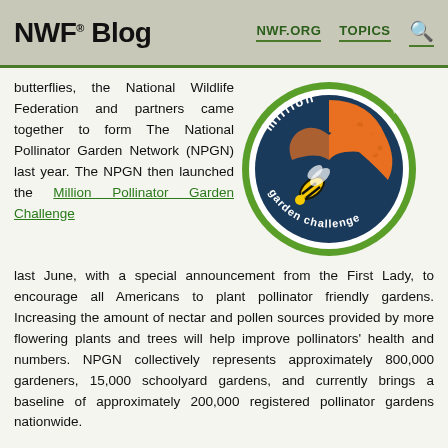NWF® Blog  NWF.ORG  TOPICS
butterflies, the National Wildlife Federation and partners came together to form The National Pollinator Garden Network (NPGN) last year. The NPGN then launched the Million Pollinator Garden Challenge last June, with a special announcement from the First Lady, to encourage all Americans to plant pollinator friendly gardens. Increasing the amount of nectar and pollen sources provided by more flowering plants and trees will help improve pollinators' health and numbers. NPGN collectively represents approximately 800,000 gardeners, 15,000 schoolyard gardens, and currently brings a baseline of approximately 200,000 registered pollinator gardens nationwide.
[Figure (logo): Million Pollinator Garden Challenge circular logo with a bee, butterfly, and honeycomb pattern, green border with white text]